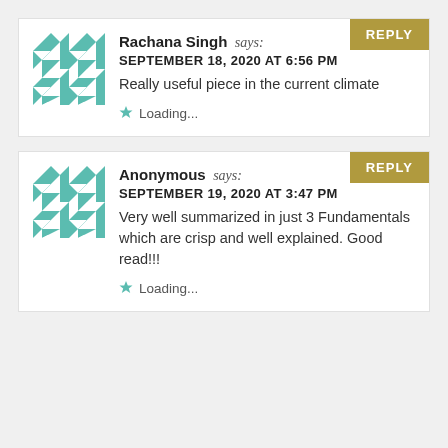Rachana Singh says: SEPTEMBER 18, 2020 AT 6:56 PM
Really useful piece in the current climate
Loading...
Anonymous says: SEPTEMBER 19, 2020 AT 3:47 PM
Very well summarized in just 3 Fundamentals which are crisp and well explained. Good read!!!
Loading...